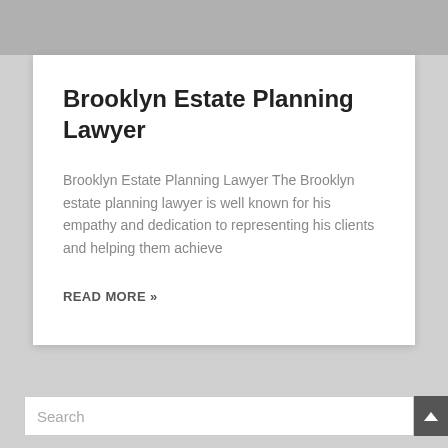[Figure (photo): Gray banner image at the top of a card]
Brooklyn Estate Planning Lawyer
Brooklyn Estate Planning Lawyer The Brooklyn estate planning lawyer is well known for his empathy and dedication to representing his clients and helping them achieve
READ MORE »